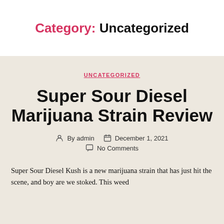Category: Uncategorized
UNCATEGORIZED
Super Sour Diesel Marijuana Strain Review
By admin  December 1, 2021  No Comments
Super Sour Diesel Kush is a new marijuana strain that has just hit the scene, and boy are we stoked. This weed